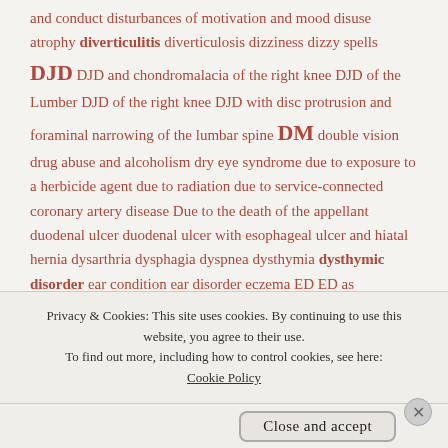and conduct disturbances of motivation and mood disuse atrophy diverticulitis diverticulosis dizziness dizzy spells DJD DJD and chondromalacia of the right knee DJD of the Lumber DJD of the right knee DJD with disc protrusion and foraminal narrowing of the lumbar spine DM double vision drug abuse and alcoholism dry eye syndrome due to exposure to a herbicide agent due to radiation due to service-connected coronary artery disease Due to the death of the appellant duodenal ulcer duodenal ulcer with esophageal ulcer and hiatal hernia dysarthria dysphagia dyspnea dysthymia dysthymic disorder ear condition ear disorder eczema ED ED as Secondary to AO Exposure edema educational assistance educational assistance benefits educational benefits Education Benefits
Privacy & Cookies: This site uses cookies. By continuing to use this website, you agree to their use. To find out more, including how to control cookies, see here: Cookie Policy
Close and accept